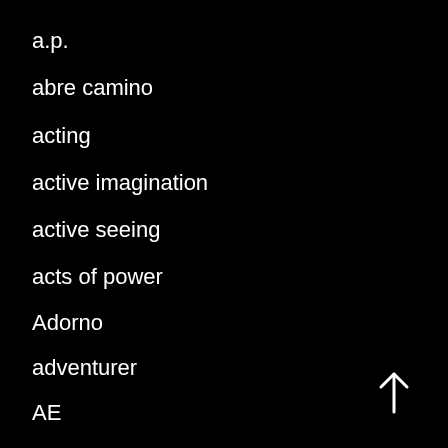a.p.
abre camino
acting
active imagination
active seeing
acts of power
Adorno
adventurer
AE
Aeon
aesthetics
Aether